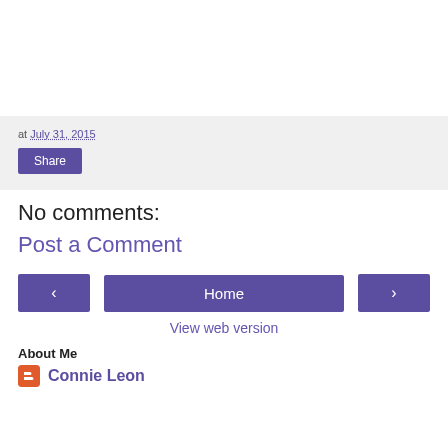at July 31, 2015
Share
No comments:
Post a Comment
<
Home
>
View web version
About Me
Connie Leon